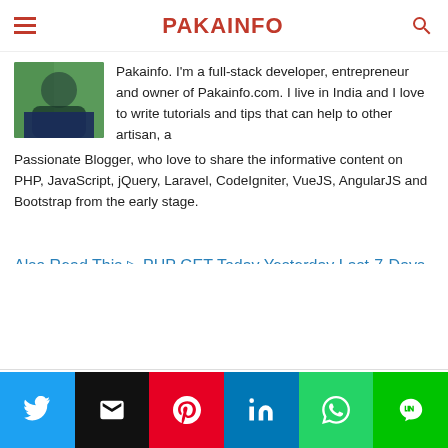PAKAINFO
Pakainfo. I'm a full-stack developer, entrepreneur and owner of Pakainfo.com. I live in India and I love to write tutorials and tips that can help to other artisan, a Passionate Blogger, who love to share the informative content on PHP, JavaScript, jQuery, Laravel, CodeIgniter, VueJS, AngularJS and Bootstrap from the early stage.
Also Read This ▷ PHP GET Today Yesterday Last-7-Days This-Month-Last-Month This-Year Last-Year,All-Time
[Figure (infographic): Social media icons row: Facebook, YouTube, Twitter, Instagram]
Related posts:
[Figure (infographic): Share bar with Twitter, Email, Pinterest, LinkedIn, WhatsApp, LINE buttons]